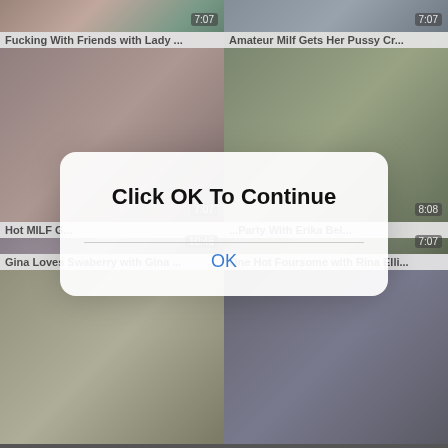[Figure (screenshot): Video thumbnail grid of adult content website with 6 thumbnails in 2 columns. Top row: 'Fucking With Friends with Lady ...' (7:07), 'Amateur Milf Gets Her Pussy Cr...' (7:07). Middle row: 'Hot MILF G...' (7:07), '...Party With Erika Bel...' (8:08). Bottom row: 'Gina Loves Swaberry with Gina ...' with two women outdoors, 'One Hot Foursome with Rina Elli...']
Click OK To Continue
OK